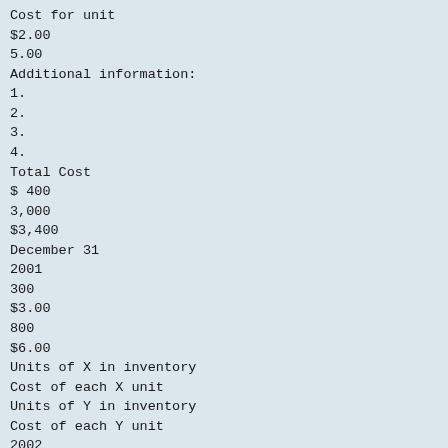Cost for unit
$2.00
5.00
Additional information:
1.
2.
3.
4.
Total Cost
$ 400
3,000
$3,400
December 31
2001
300
$3.00
800
$6.00
Units of X in inventory
Cost of each X unit
Units of Y in inventory
Cost of each Y unit
2002
400
$3.25
1,200
$6.50
Instructions
(a) Compute the price index for 2001. Round to 2 decimal places.
(b) Calculate the 12/31/01 inventory. Label all numbers.
(c) Compute the price index for 2002. Round to 2